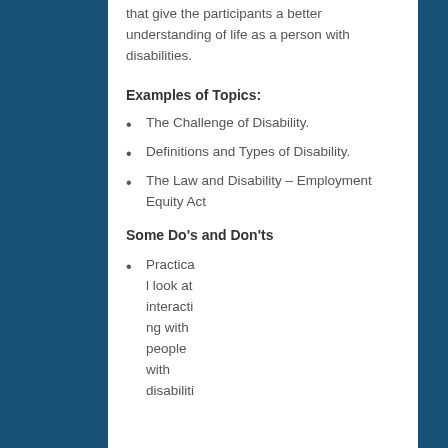that give the participants a better understanding of life as a person with disabilities.
Examples of Topics:
The Challenge of Disability.
Definitions and Types of Disability.
The Law and Disability – Employment Equity Act
Some Do's and Don'ts
Practical look at interacting with people with disabiliti